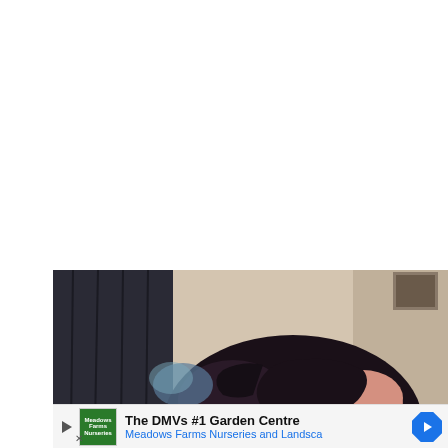[Figure (photo): Partial view of a person's head with dark hair, showing forehead and top of head. Background includes dark curtains on the left and a beige wall with a framed picture on the upper right.]
The DMVs #1 Garden Centre
Meadows Farms Nurseries and Landsca